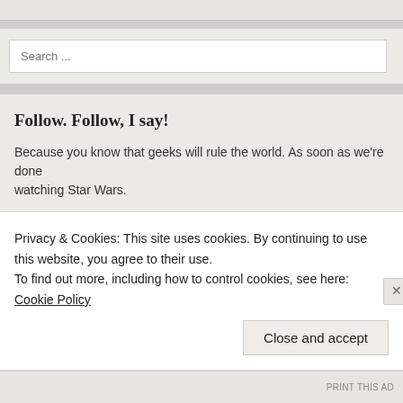[Figure (screenshot): Search input box with placeholder text 'Search ...']
Follow. Follow, I say!
Because you know that geeks will rule the world. As soon as we're done watching Star Wars.
[Figure (screenshot): Email address input box and Follow button]
Privacy & Cookies: This site uses cookies. By continuing to use this website, you agree to their use.
To find out more, including how to control cookies, see here: Cookie Policy
PRINT THIS AD